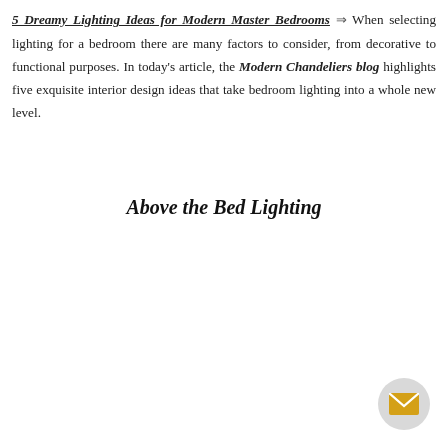5 Dreamy Lighting Ideas for Modern Master Bedrooms ⇒ When selecting lighting for a bedroom there are many factors to consider, from decorative to functional purposes. In today's article, the Modern Chandeliers blog highlights five exquisite interior design ideas that take bedroom lighting into a whole new level.
Above the Bed Lighting
[Figure (other): Email/newsletter subscription button icon — circular grey button with yellow envelope icon, positioned bottom-right corner]